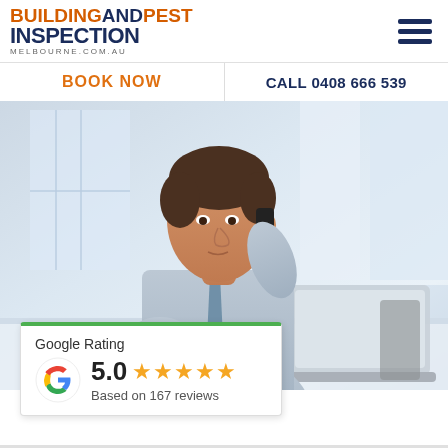[Figure (logo): Building and Pest Inspection Melbourne.com.au logo — BUILDING AND PEST in orange/navy bold, INSPECTION in navy bold, melbourne.com.au in grey small caps]
[Figure (other): Hamburger menu icon — three horizontal navy bars]
BOOK NOW
CALL 0408 666 539
[Figure (photo): Business man in grey shirt and tie sitting at desk, talking on mobile phone, with laptop open in front of him, bright office background]
[Figure (infographic): Google Rating card: Google G logo, rating 5.0, five orange stars, Based on 167 reviews]